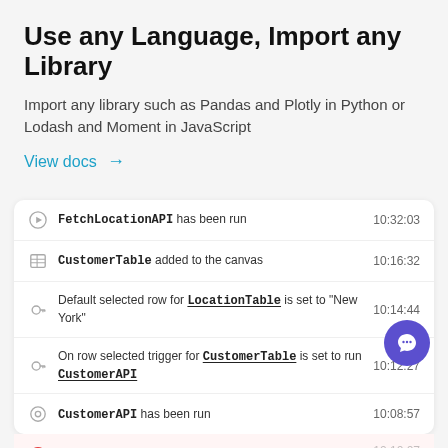Use any Language, Import any Library
Import any library such as Pandas and Plotly in Python or Lodash and Moment in JavaScript
View docs →
| Icon | Event | Time |
| --- | --- | --- |
| play | FetchLocationAPI has been run | 10:32:03 |
| table | CustomerTable added to the canvas | 10:16:32 |
| key | Default selected row for LocationTable is set to "New York" | 10:14:44 |
| key | On row selected trigger for CustomerTable is set to run CustomerAPI | 10:12:27 |
| circle | CustomerAPI has been run | 10:08:57 |
Failed to fetch data from CustomerAPI on Table.onRowSelect CustomerId is undefined 41:7
CustomerTable.data is invalid format
Please provide valid JSON, see examples here